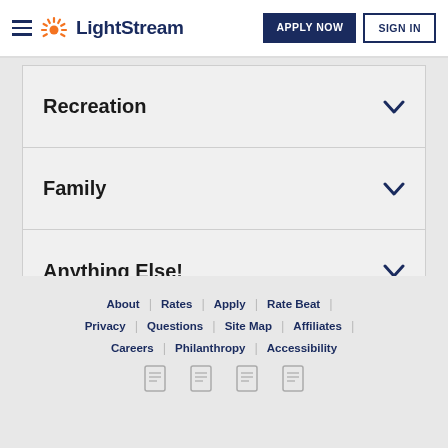LightStream | APPLY NOW | SIGN IN
Recreation
Family
Anything Else!
About | Rates | Apply | Rate Beat | Privacy | Questions | Site Map | Affiliates | Careers | Philanthropy | Accessibility